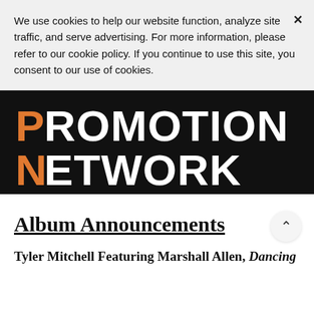We use cookies to help our website function, analyze site traffic, and serve advertising. For more information, please refer to our cookie policy. If you continue to use this site, you consent to our use of cookies.
[Figure (logo): Promotion Network logo: black background with large bold white text 'PROMOTION' on first line and 'NETWORK' on second line, each with the first letter 'P' and 'N' in orange.]
Album Announcements
Tyler Mitchell Featuring Marshall Allen, Dancing